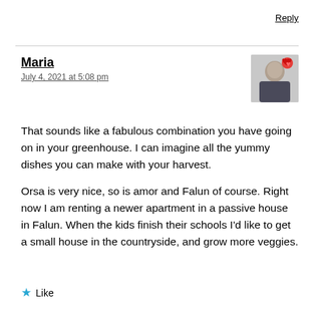Reply
Maria
July 4, 2021 at 5:08 pm
[Figure (photo): Small avatar photo of a person with a red heart balloon visible, dark clothing, indoor setting.]
That sounds like a fabulous combination you have going on in your greenhouse. I can imagine all the yummy dishes you can make with your harvest.
Orsa is very nice, so is amor and Falun of course. Right now I am renting a newer apartment in a passive house in Falun. When the kids finish their schools I'd like to get a small house in the countryside, and grow more veggies.
Like